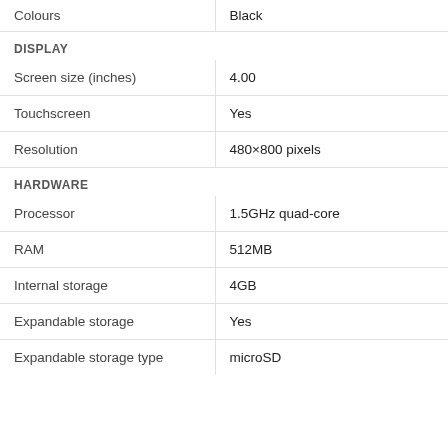| Property | Value |
| --- | --- |
| Colours | Black |
| Screen size (inches) | 4.00 |
| Touchscreen | Yes |
| Resolution | 480×800 pixels |
| Processor | 1.5GHz quad-core |
| RAM | 512MB |
| Internal storage | 4GB |
| Expandable storage | Yes |
| Expandable storage type | microSD |